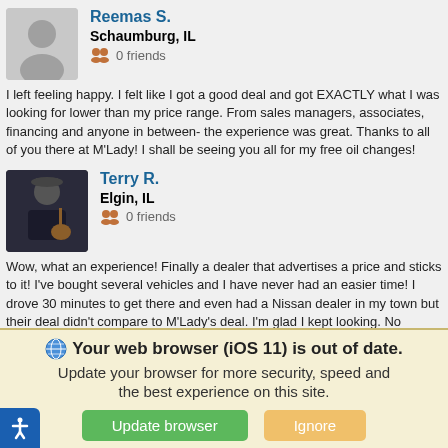Reemas S.
Schaumburg, IL
0 friends
I left feeling happy. I felt like I got a good deal and got EXACTLY what I was looking for lower than my price range. From sales managers, associates, financing and anyone in between- the experience was great. Thanks to all of you there at M'Lady! I shall be seeing you all for my free oil changes!
Terry R.
Elgin, IL
0 friends
Wow, what an experience! Finally a dealer that advertises a price and sticks to it! I've bought several vehicles and I have never had an easier time! I drove 30 minutes to get there and even had a Nissan dealer in my town but their deal didn't compare to M'Lady's deal. I'm glad I kept looking. No wonder they are the #1 dealer in the Midwest. Oh yeah and free lifetime oil changes!
Nissan Dealer Serving
Your web browser (iOS 11) is out of date. Update your browser for more security, speed and the best experience on this site.